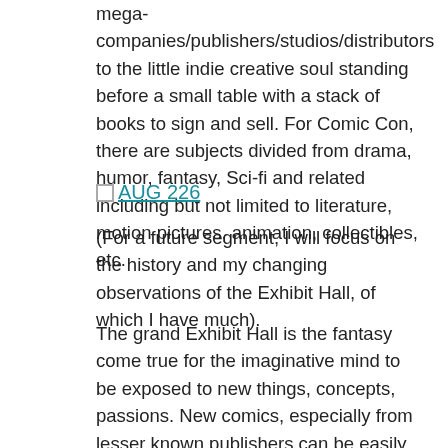mega-companies/publishers/studios/distributors to the little indie creative soul standing before a small table with a stack of books to sign and sell. For Comic Con, there are subjects divided from drama, humor, fantasy, Sci-fi and related including but not limited to literature, motion pictures, animation, collectibles, etc.
[Figure (other): Broken image placeholder with link text 'AUG 226']
(For a future segment, I will focus on the history and my changing observations of the Exhibit Hall, of which I have much).
The grand Exhibit Hall is the fantasy come true for the imaginative mind to be exposed to new things, concepts, passions. New comics, especially from lesser known publishers can be easily obtained with a personal touch by the creators. It was here some years ago, I turned on to a favorite comic series, Locke and Key (by Joe Hill, Gabriel Rodriguez), simply from